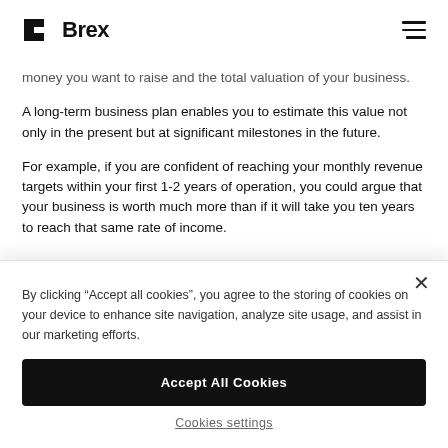Brex
money you want to raise and the total valuation of your business.
A long-term business plan enables you to estimate this value not only in the present but at significant milestones in the future.
For example, if you are confident of reaching your monthly revenue targets within your first 1-2 years of operation, you could argue that your business is worth much more than if it will take you ten years to reach that same rate of income.
By clicking “Accept all cookies”, you agree to the storing of cookies on your device to enhance site navigation, analyze site usage, and assist in our marketing efforts.
Accept All Cookies
Cookies settings